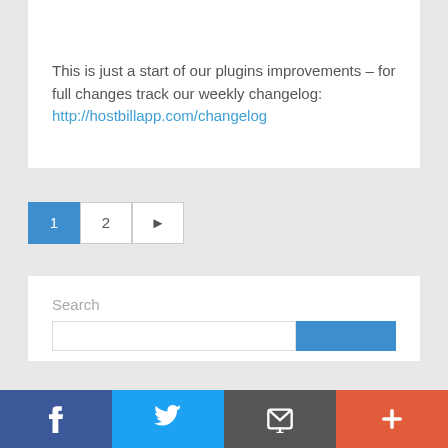This is just a start of our plugins improvements – for full changes track our weekly changelog: http://hostbillapp.com/changelog
[Figure (other): Pagination controls showing page 1 (active, blue), page 2, and a next arrow button]
Search
[Figure (other): Bottom social share bar with Facebook, Twitter, email/envelope, and plus icons]